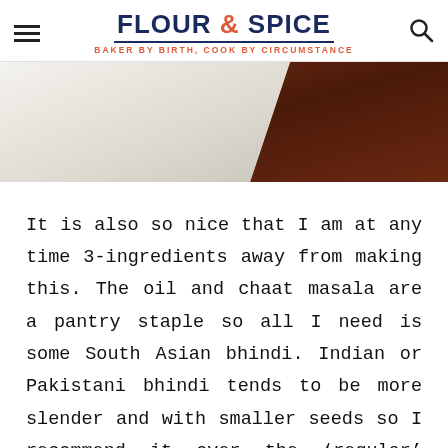FLOUR & SPICE — BAKER BY BIRTH, COOK BY CIRCUMSTANCE
[Figure (photo): Partial top view of pale white flour on the left and dark reddish-brown wooden surface on the right, with a diagonal boundary between them.]
It is also so nice that I am at any time 3-ingredients away from making this. The oil and chaat masala are a pantry staple so all I need is some South Asian bhindi. Indian or Pakistani bhindi tends to be more slender and with smaller seeds so I recommend it over the ‘regular’ variety. It is now available at my grocery store which is